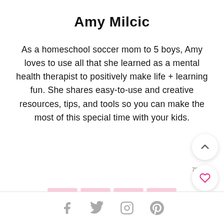Amy Milcic
As a homeschool soccer mom to 5 boys, Amy loves to use all that she learned as a mental health therapist to positively make life + learning fun. She shares easy-to-use and creative resources, tips, and tools so you can make the most of this special time with your kids.
Facebook, Twitter, Instagram, Pinterest social icons